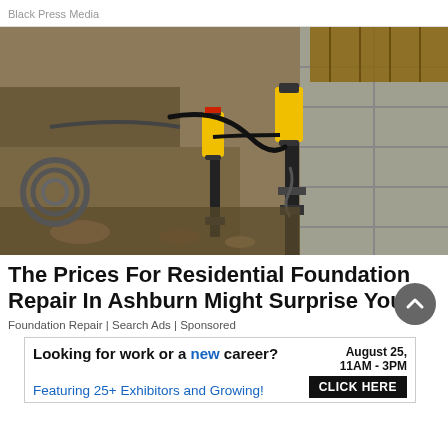Black Press Media
[Figure (photo): Construction workers using hydraulic piers and lifting equipment to repair a cracked residential foundation wall, with excavated soil visible alongside the concrete block foundation.]
The Prices For Residential Foundation Repair In Ashburn Might Surprise You
Foundation Repair | Search Ads | Sponsored
[Figure (infographic): Advertisement banner: 'Looking for work or a new career? August 25, 11AM - 3PM. Featuring 25+ Exhibitors and Growing! CLICK HERE']